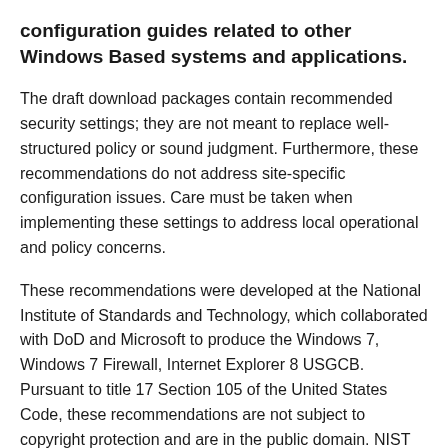configuration guides related to other Windows Based systems and applications.
The draft download packages contain recommended security settings; they are not meant to replace well-structured policy or sound judgment. Furthermore, these recommendations do not address site-specific configuration issues. Care must be taken when implementing these settings to address local operational and policy concerns.
These recommendations were developed at the National Institute of Standards and Technology, which collaborated with DoD and Microsoft to produce the Windows 7, Windows 7 Firewall, Internet Explorer 8 USGCB. Pursuant to title 17 Section 105 of the United States Code, these recommendations are not subject to copyright protection and are in the public domain. NIST assumes no responsibility whatsoever for their use by other parties, and makes no guarantees, expressed or implied, about their quality, reliability, or any other characteristic. We would appreciate